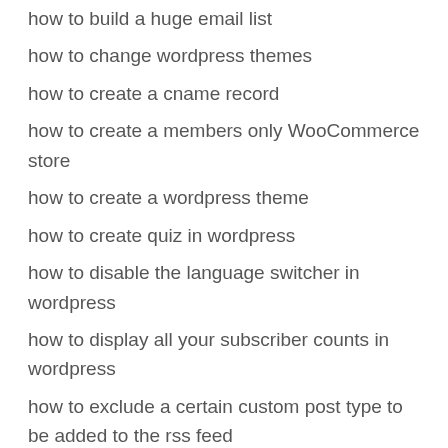how to build a huge email list
how to change wordpress themes
how to create a cname record
how to create a members only WooCommerce store
how to create a wordpress theme
how to create quiz in wordpress
how to disable the language switcher in wordpress
how to display all your subscriber counts in wordpress
how to exclude a certain custom post type to be added to the rss feed
how to improve wordpress yslow grade
how to include a specific custom post type to